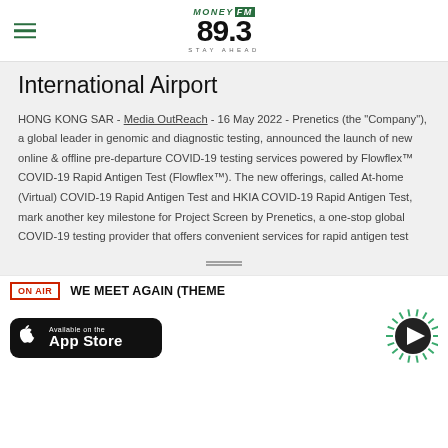MONEY FM 89.3 - Stay Ahead
International Airport
HONG KONG SAR - Media OutReach - 16 May 2022 - Prenetics (the "Company"), a global leader in genomic and diagnostic testing, announced the launch of new online & offline pre-departure COVID-19 testing services powered by Flowflex™ COVID-19 Rapid Antigen Test (Flowflex™). The new offerings, called At-home (Virtual) COVID-19 Rapid Antigen Test and HKIA COVID-19 Rapid Antigen Test, mark another key milestone for Project Screen by Prenetics, a one-stop global COVID-19 testing provider that offers convenient services for rapid antigen test
ON AIR  WE MEET AGAIN (THEME
[Figure (logo): Apple App Store download badge]
[Figure (other): Radio play button with radiating lines]